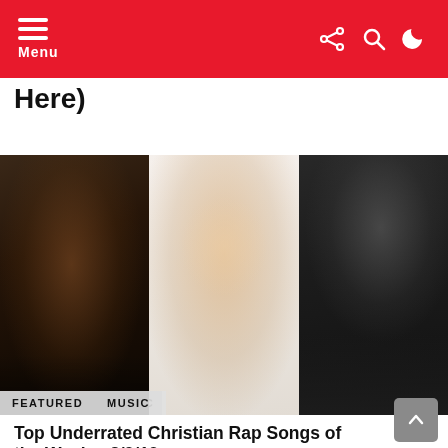Menu
Here)
[Figure (photo): Three photos side by side: left is a dark moody portrait of a man with dreadlocks, center is a smiling woman with curly hair touching her head, right is a dark grayscale figure from behind. Tags 'FEATURED' and 'MUSIC' overlay the bottom left.]
Top Underrated Christian Rap Songs of the Week – 8/9/19